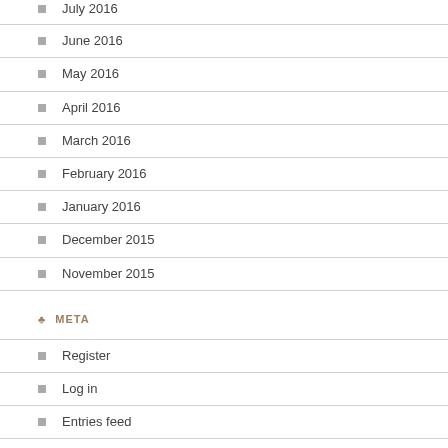July 2016
June 2016
May 2016
April 2016
March 2016
February 2016
January 2016
December 2015
November 2015
META
Register
Log in
Entries feed
Comments feed
WordPress.com